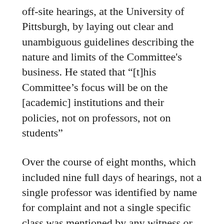off-site hearings, at the University of Pittsburgh, by laying out clear and unambiguous guidelines describing the nature and limits of the Committee's business. He stated that “[t]his Committee’s focus will be on the [academic] institutions and their policies, not on professors, not on students”
Over the course of eight months, which included nine full days of hearings, not a single professor was identified by name for complaint and not a single specific class was mentioned by any witness or committee member. The focus of the Select Committee remained “institutions and their policies.”